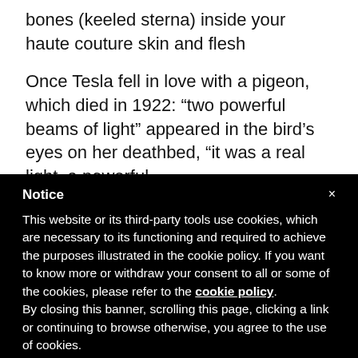bones (keeled sterna) inside your haute couture skin and flesh
Once Tesla fell in love with a pigeon, which died in 1922: “two powerful beams of light” appeared in the bird’s eyes on her deathbed, “it was a real light, a powerful,
Notice
This website or its third-party tools use cookies, which are necessary to its functioning and required to achieve the purposes illustrated in the cookie policy. If you want to know more or withdraw your consent to all or some of the cookies, please refer to the cookie policy.
By closing this banner, scrolling this page, clicking a link or continuing to browse otherwise, you agree to the use of cookies.